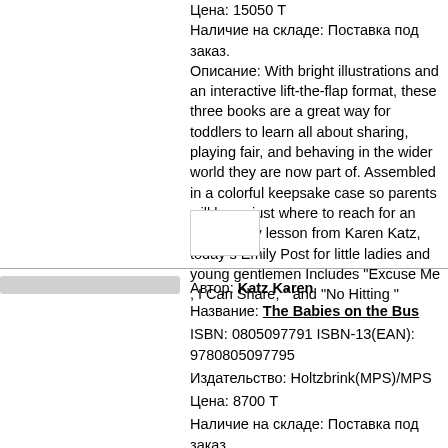Цена: 15050 Т
Наличие на складе: Поставка под заказ.
Описание: With bright illustrations and an interactive lift-the-flap format, these three books are a great way for toddlers to learn all about sharing, playing fair, and behaving in the wider world they are now part of. Assembled in a colorful keepsake case so parents will know just where to reach for an emergency lesson from Karen Katz, today s Emily Post for little ladies and young gentlemen Includes "Excuse Me , I Can Share, " and "No Hitting "
[Figure (other): Small image thumbnail box]
Автор: Katz Karen
Название: The Babies on the Bus
ISBN: 0805097791 ISBN-13(EAN): 9780805097795
Издательство: Holtzbrink(MPS)/MPS
Цена: 8700 Т
Наличие на складе: Поставка под заказ.
Описание:

The babies on the bus sing LA-LA-LA! LA-LA-LA! LA-LA-LA! Jump on the bus with Karen Katz's adorable babies as they take a classic song for an all-new ride!